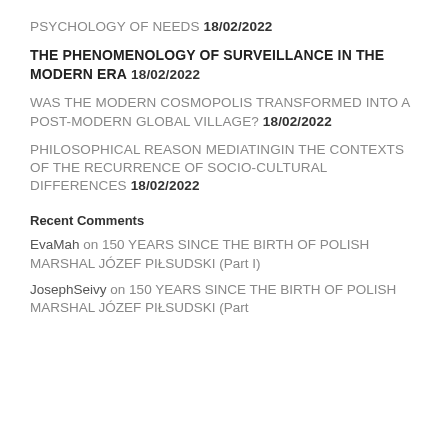PSYCHOLOGY OF NEEDS 18/02/2022
THE PHENOMENOLOGY OF SURVEILLANCE IN THE MODERN ERA 18/02/2022
WAS THE MODERN COSMOPOLIS TRANSFORMED INTO A POST-MODERN GLOBAL VILLAGE? 18/02/2022
PHILOSOPHICAL REASON MEDIATINGIN THE CONTEXTS OF THE RECURRENCE OF SOCIO-CULTURAL DIFFERENCES 18/02/2022
Recent Comments
EvaMah on 150 YEARS SINCE THE BIRTH OF POLISH MARSHAL JÓZEF PIŁSUDSKI (Part I)
JosephSeivy on 150 YEARS SINCE THE BIRTH OF POLISH MARSHAL JÓZEF PIŁSUDSKI (Part